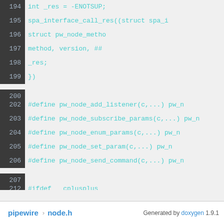[Figure (screenshot): Source code listing from pipewire node.h, lines 194-216, showing C preprocessor macros and closing brackets in a dark-themed code viewer with teal monospace font on light gray background and dark line number gutter.]
pipewire  node.h    Generated by doxygen 1.9.1